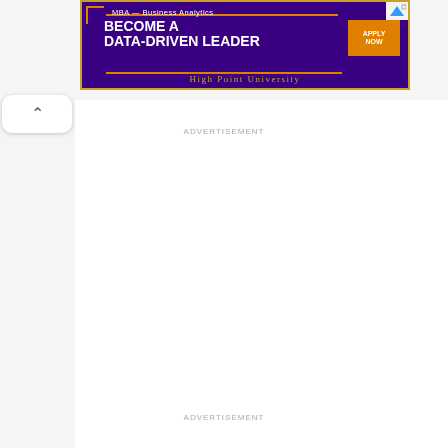[Figure (other): Advertisement banner for High Point University MBA Business Analytics program. Purple background with orange border decoration. Text reads 'MBA – Business Analytics', 'BECOME A DATA-DRIVEN LEADER', with an orange 'APPLY NOW' button. 'HIGH POINT UNIVERSITY' displayed at bottom in gold serif font.]
ADVERTISEMENT
ADVERTISEMENT